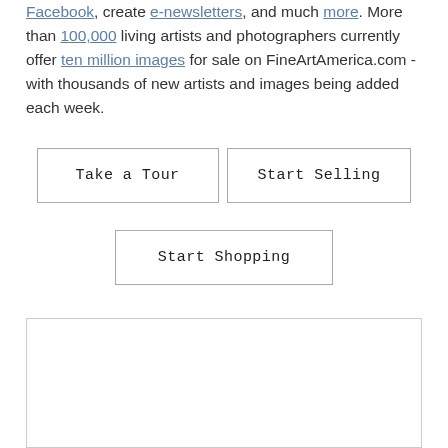Facebook, create e-newsletters, and much more. More than 100,000 living artists and photographers currently offer ten million images for sale on FineArtAmerica.com - with thousands of new artists and images being added each week.
Take a Tour
Start Selling
Start Shopping
[Figure (other): Empty bordered rectangle placeholder/image box]